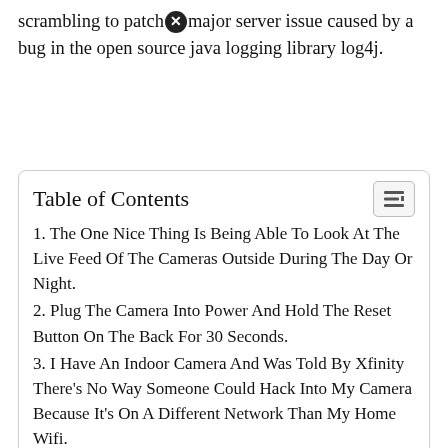scrambling to patch ✕ major server issue caused by a bug in the open source java logging library log4j.
Table of Contents
1. The One Nice Thing Is Being Able To Look At The Live Feed Of The Cameras Outside During The Day Or Night.
2. Plug The Camera Into Power And Hold The Reset Button On The Back For 30 Seconds.
3. I Have An Indoor Camera And Was Told By Xfinity There's No Way Someone Could Hack Into My Camera Because It's On A Different Network Than My Home Wifi.
4. Xfinity Home Security Faq In Recent Years There Have Been Accounts Of Xfinity Home Security's Vulnerability To Hacking (Thieves Can Jam The Signals That Tell A Security S✕stem That The